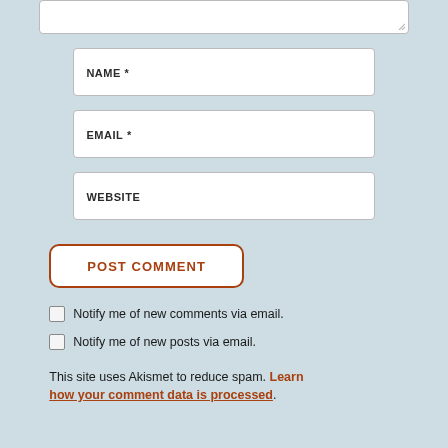[Figure (screenshot): Top portion of a textarea input box (comment field) with resize handle at bottom right, on a light blue-gray background]
NAME *
[Figure (screenshot): Name text input field, white background with border]
EMAIL *
[Figure (screenshot): Email text input field, white background with border]
WEBSITE
[Figure (screenshot): Website text input field, white background with border]
[Figure (screenshot): POST COMMENT button with brown/rust colored border and text, rounded corners, white fill]
Notify me of new comments via email.
Notify me of new posts via email.
This site uses Akismet to reduce spam. Learn how your comment data is processed.